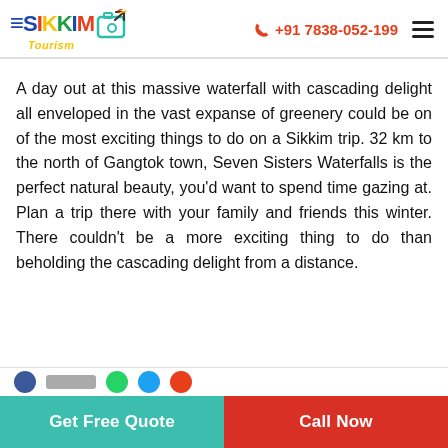eSikkim Tourism | +91 7838-052-199
A day out at this massive waterfall with cascading delight all enveloped in the vast expanse of greenery could be on of the most exciting things to do on a Sikkim trip. 32 km to the north of Gangtok town, Seven Sisters Waterfalls is the perfect natural beauty, you'd want to spend time gazing at. Plan a trip there with your family and friends this winter. There couldn't be a more exciting thing to do than beholding the cascading delight from a distance.
Get Free Quote | Call Now